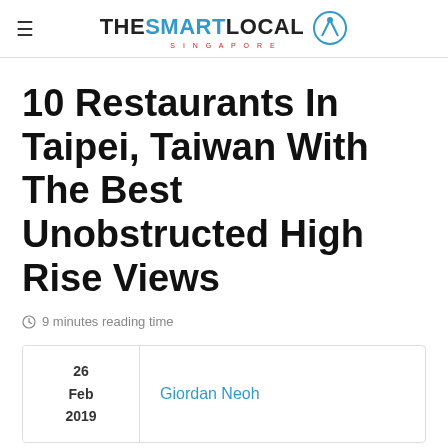THE SMART LOCAL SINGAPORE
10 Restaurants In Taipei, Taiwan With The Best Unobstructed High Rise Views
9 minutes reading time
| Date | Author |
| --- | --- |
| 26 Feb 2019 | Giordan Neoh |